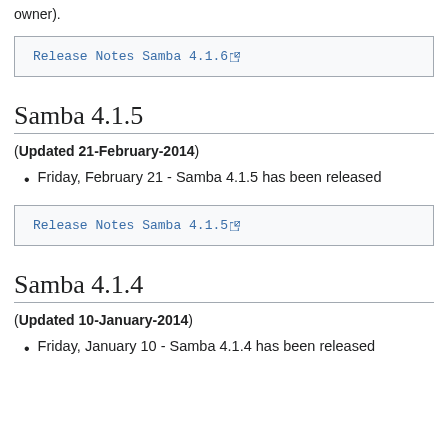owner).
Release Notes Samba 4.1.6 [external link]
Samba 4.1.5
(Updated 21-February-2014)
Friday, February 21 - Samba 4.1.5 has been released
Release Notes Samba 4.1.5 [external link]
Samba 4.1.4
(Updated 10-January-2014)
Friday, January 10 - Samba 4.1.4 has been released